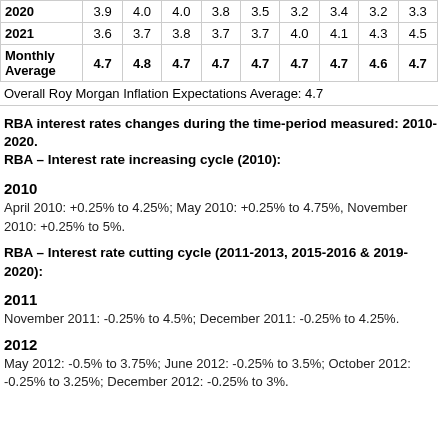|  | Jan | Feb | Mar | Apr | May | Jun | Jul | Aug | Sep |
| --- | --- | --- | --- | --- | --- | --- | --- | --- | --- |
| 2020 | 3.9 | 4.0 | 4.0 | 3.8 | 3.5 | 3.2 | 3.4 | 3.2 | 3.3 |
| 2021 | 3.6 | 3.7 | 3.8 | 3.7 | 3.7 | 4.0 | 4.1 | 4.3 | 4.5 |
| Monthly Average | 4.7 | 4.8 | 4.7 | 4.7 | 4.7 | 4.7 | 4.7 | 4.6 | 4.7 |
Overall Roy Morgan Inflation Expectations Average: 4.7
RBA interest rates changes during the time-period measured: 2010-2020.
RBA – Interest rate increasing cycle (2010):
2010
April 2010: +0.25% to 4.25%; May 2010: +0.25% to 4.75%, November 2010: +0.25% to 5%.
RBA – Interest rate cutting cycle (2011-2013, 2015-2016 & 2019-2020):
2011
November 2011: -0.25% to 4.5%; December 2011: -0.25% to 4.25%.
2012
May 2012: -0.5% to 3.75%; June 2012: -0.25% to 3.5%; October 2012: -0.25% to 3.25%; December 2012: -0.25% to 3%.